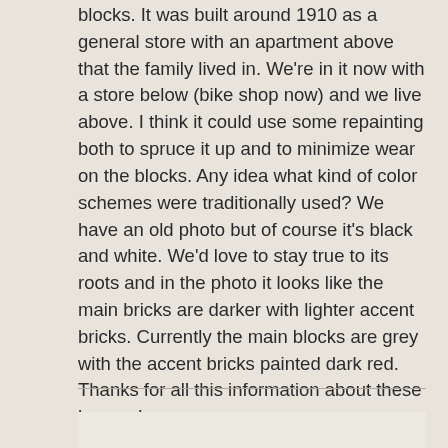blocks. It was built around 1910 as a general store with an apartment above that the family lived in. We're in it now with a store below (bike shop now) and we live above. I think it could use some repainting both to spruce it up and to minimize wear on the blocks. Any idea what kind of color schemes were traditionally used? We have an old photo but of course it's black and white. We'd love to stay true to its roots and in the photo it looks like the main bricks are darker with lighter accent bricks. Currently the main blocks are grey with the accent bricks painted dark red. Thanks for all this information about these houses!
Reply